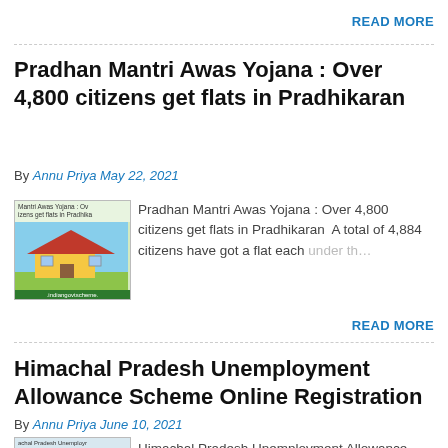READ MORE
Pradhan Mantri Awas Yojana : Over 4,800 citizens get flats in Pradhikaran
By Annu Priya May 22, 2021
[Figure (photo): Thumbnail image for Pradhan Mantri Awas Yojana article showing a house illustration with indiangovtscheme.com branding]
Pradhan Mantri Awas Yojana : Over 4,800 citizens get flats in Pradhikaran  A total of 4,884 citizens have got a flat each under th…
READ MORE
Himachal Pradesh Unemployment Allowance Scheme Online Registration
By Annu Priya June 10, 2021
[Figure (photo): Thumbnail image for Himachal Pradesh Unemployment Allowance Scheme Online Registration article]
Himachal Pradesh Unemployment Allowance